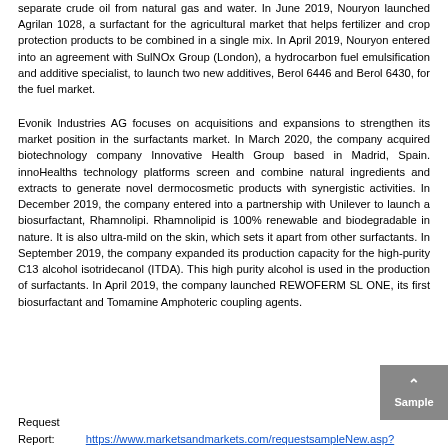separate crude oil from natural gas and water. In June 2019, Nouryon launched Agrilan 1028, a surfactant for the agricultural market that helps fertilizer and crop protection products to be combined in a single mix. In April 2019, Nouryon entered into an agreement with SulNOx Group (London), a hydrocarbon fuel emulsification and additive specialist, to launch two new additives, Berol 6446 and Berol 6430, for the fuel market.
Evonik Industries AG focuses on acquisitions and expansions to strengthen its market position in the surfactants market. In March 2020, the company acquired biotechnology company Innovative Health Group based in Madrid, Spain. innoHealths technology platforms screen and combine natural ingredients and extracts to generate novel dermocosmetic products with synergistic activities. In December 2019, the company entered into a partnership with Unilever to launch a biosurfactant, Rhamnolipi. Rhamnolipid is 100% renewable and biodegradable in nature. It is also ultra-mild on the skin, which sets it apart from other surfactants. In September 2019, the company expanded its production capacity for the high-purity C13 alcohol isotridecanol (ITDA). This high purity alcohol is used in the production of surfactants. In April 2019, the company launched REWOFERM SL ONE, its first biosurfactant and Tomamine Amphoteric coupling agents.
Request Report: https://www.marketsandmarkets.com/requestsampleNew.asp?